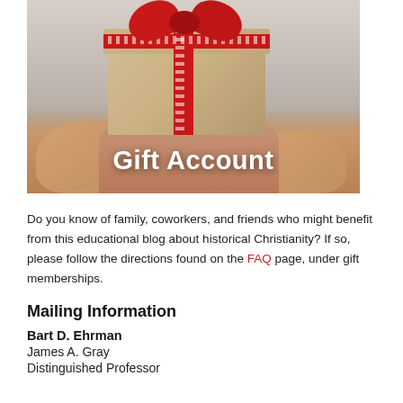[Figure (photo): Photograph of two hands holding a wrapped gift box with a red ribbon and bow. Text overlay reads 'Gift Account' in white bold letters.]
Do you know of family, coworkers, and friends who might benefit from this educational blog about historical Christianity? If so, please follow the directions found on the FAQ page, under gift memberships.
Mailing Information
Bart D. Ehrman
James A. Gray
Distinguished Professor